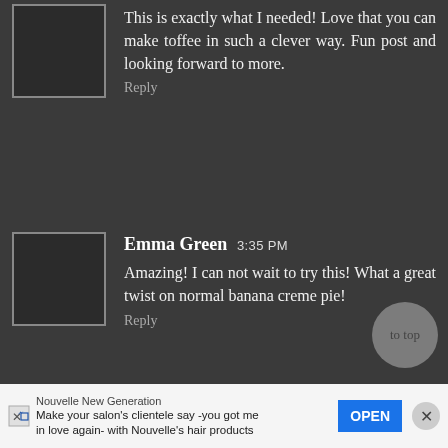This is exactly what I needed!  Love that you can make toffee in such a clever way.  Fun post and looking forward to more.
Reply
Emma Green 3:35 PM
Amazing! I can not wait to try this! What a great twist on normal banana creme pie!
Reply
smile196 12:25 AM
I will look it up but recently their wes a recipe for doing the same thing only in a slow-cooker. Doesn't sound as dangerously. Knowing me I would probably let the water run dry. LOL
to top
Nouvelle New Generation
Make your salon's clientele say -you got me in love again- with Nouvelle's hair products